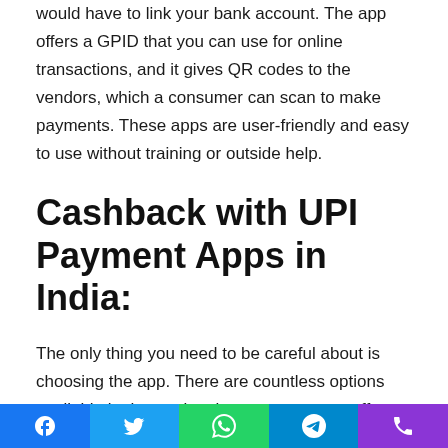would have to link your bank account. The app offers a GPID that you can use for online transactions, and it gives QR codes to the vendors, which a consumer can scan to make payments. These apps are user-friendly and easy to use without training or outside help.
Cashback with UPI Payment Apps in India:
The only thing you need to be careful about is choosing the app. There are countless options available in the market, but not every app offers the expected level of services. Hence, it is vital to dig deeper and read the customer feedback in detail to figure out which app is best and start using it.
It is critical to research the UPI apps in India to get multiple